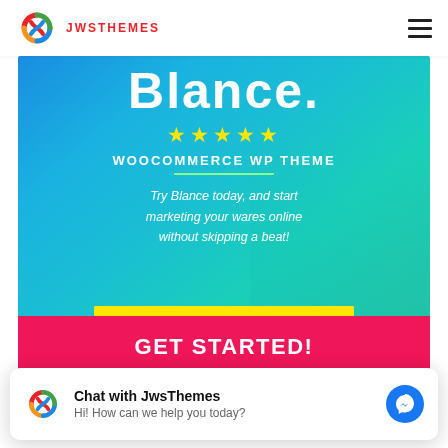JWSTHEMES
[Figure (screenshot): WooCommerce WordPress theme promotional banner for 'Blance' theme. Blue gradient background with large text 'Blance.', five yellow stars, 'WOOCOMMERCE WP THEME' label, green underline, italic tagline 'Try Blance today, and start marketing your wares online without skipping a beat!', yellow accent line, and a pink/red GET STARTED button bar.]
[Figure (screenshot): Chat widget overlay showing JwsThemes logo, 'Chat with JwsThemes' heading, 'Hi! How can we help you today?' subtitle, and a blue Messenger icon button on the right.]
[Figure (screenshot): Partial second banner showing WooCommerce purple logo and partial text 'commerce...' with a blue circle icon partially visible at bottom of page.]